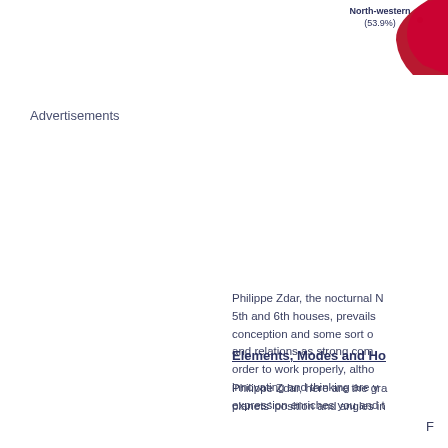[Figure (pie-chart): Partial pie chart visible in top-right corner showing North-western (53.9%) slice in red/pink]
North-western (53.9%)
Advertisements
Philippe Zdar, the nocturnal N 5th and 6th houses, prevails conception and some sort o and relations as strong com order to work properly, altho innovating and thinking are v expression enriches you and t
Elements, Modes and Ho
Philippe Zdar, here are the gra planets' position and angles in
F